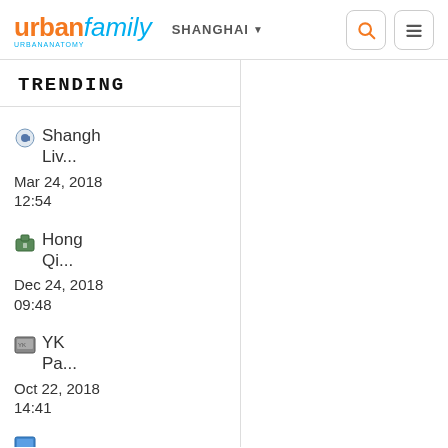urbanfamily SHANGHAI
TRENDING
Shangh Liv... Mar 24, 2018 12:54
Hong Qi... Dec 24, 2018 09:48
YK Pa... Oct 22, 2018 14:41